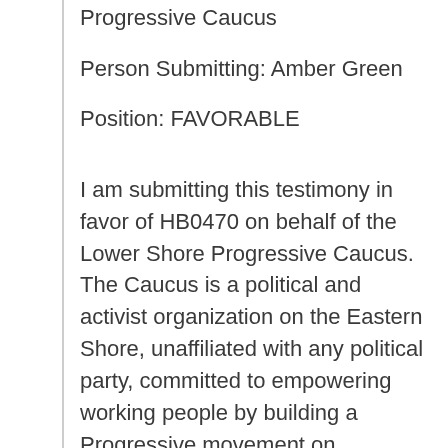Progressive Caucus
Person Submitting: Amber Green
Position: FAVORABLE
I am submitting this testimony in favor of HB0470 on behalf of the Lower Shore Progressive Caucus. The Caucus is a political and activist organization on the Eastern Shore, unaffiliated with any political party, committed to empowering working people by building a Progressive movement on